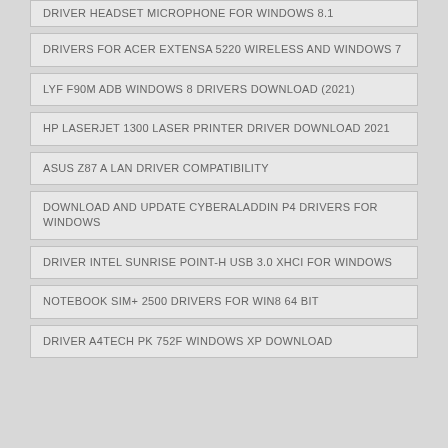DRIVER HEADSET MICROPHONE FOR WINDOWS 8.1
DRIVERS FOR ACER EXTENSA 5220 WIRELESS AND WINDOWS 7
LYF F90M ADB WINDOWS 8 DRIVERS DOWNLOAD (2021)
HP LASERJET 1300 LASER PRINTER DRIVER DOWNLOAD 2021
ASUS Z87 A LAN DRIVER COMPATIBILITY
DOWNLOAD AND UPDATE CYBERALADDIN P4 DRIVERS FOR WINDOWS
DRIVER INTEL SUNRISE POINT-H USB 3.0 XHCI FOR WINDOWS
NOTEBOOK SIM+ 2500 DRIVERS FOR WIN8 64 BIT
DRIVER A4TECH PK 752F WINDOWS XP DOWNLOAD